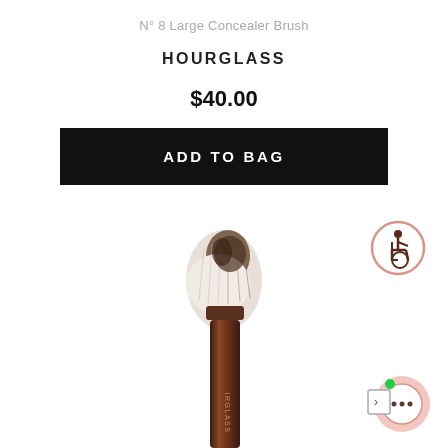N° 8 Large Concealer Brush
HOURGLASS
$40.00
ADD TO BAG
[Figure (photo): Hourglass N° 8 Large Concealer Brush with dark brown metallic handle and dense angled brush head with white and dark bristles]
[Figure (illustration): Accessibility icon: person in wheelchair, pink circle border]
[Figure (illustration): Live chat icon: speech bubble with ellipsis dots and a sidebar expand arrow, pink circle, green notification dot]